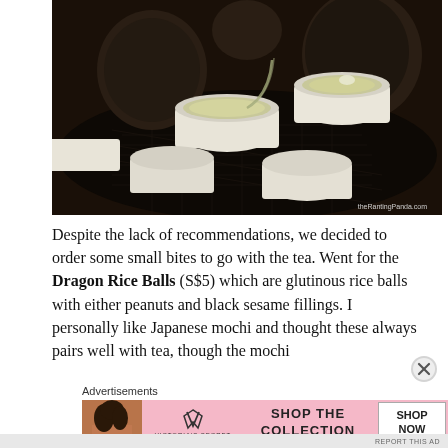[Figure (photo): Dark moody photo of Chinese tea ceremony: white porcelain tea cups being filled with pale green tea on a dark tray, with dark clay teapots in the background. Watermark reads theRantingPanda.com.]
Despite the lack of recommendations, we decided to order some small bites to go with the tea. Went for the Dragon Rice Balls (S$5) which are glutinous rice balls with either peanuts and black sesame fillings. I personally like Japanese mochi and thought these always pairs well with tea, though the mochi
Advertisements
[Figure (other): Victoria's Secret advertisement banner: pink background with model photo on left, VS logo in center, text 'SHOP THE COLLECTION', and a white 'SHOP NOW' button on the right.]